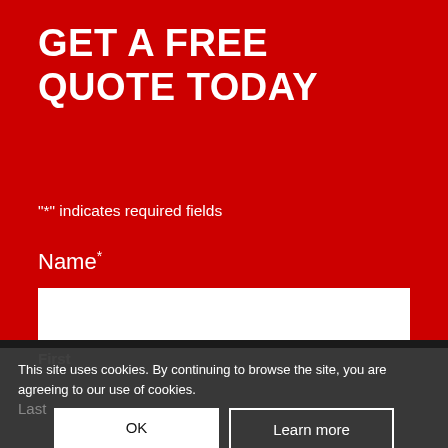GET A FREE QUOTE TODAY
"*" indicates required fields
Name *
First
Last
This site uses cookies. By continuing to browse the site, you are agreeing to our use of cookies.
OK
Learn more